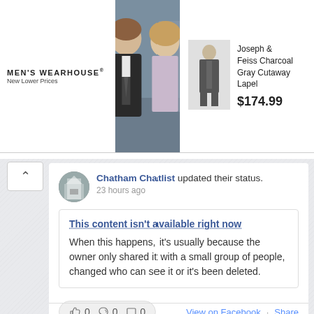[Figure (screenshot): Men's Wearhouse advertisement banner showing a couple in formal wear and a charcoal gray suit product with price $174.99]
MEN'S WEARHOUSE® New Lower Prices
Joseph & Feiss Charcoal Gray Cutaway Lapel $174.99
Chatham Chatlist updated their status. 23 hours ago
This content isn't available right now
When this happens, it's usually because the owner only shared it with a small group of people, changed who can see it or it's been deleted.
0  0  0  View on Facebook · Share